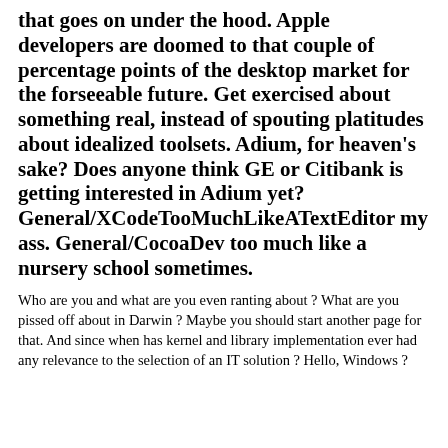that goes on under the hood. Apple developers are doomed to that couple of percentage points of the desktop market for the forseeable future. Get exercised about something real, instead of spouting platitudes about idealized toolsets. Adium, for heaven's sake? Does anyone think GE or Citibank is getting interested in Adium yet? General/XCodeTooMuchLikeATextEditor my ass. General/CocoaDev too much like a nursery school sometimes.
Who are you and what are you even ranting about ? What are you pissed off about in Darwin ? Maybe you should start another page for that. And since when has kernel and library implementation ever had any relevance to the selection of an IT solution ? Hello, Windows ?